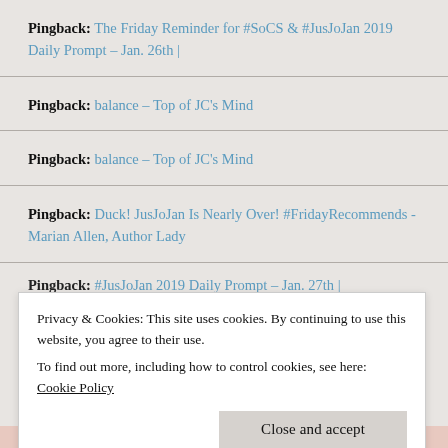Pingback: The Friday Reminder for #SoCS & #JusJoJan 2019 Daily Prompt – Jan. 26th |
Pingback: balance – Top of JC's Mind
Pingback: balance – Top of JC's Mind
Pingback: Duck! JusJoJan Is Nearly Over! #FridayRecommends - Marian Allen, Author Lady
Pingback: #JusJoJan 2019 Daily Prompt – Jan. 27th |
Privacy & Cookies: This site uses cookies. By continuing to use this website, you agree to their use. To find out more, including how to control cookies, see here: Cookie Policy
Close and accept